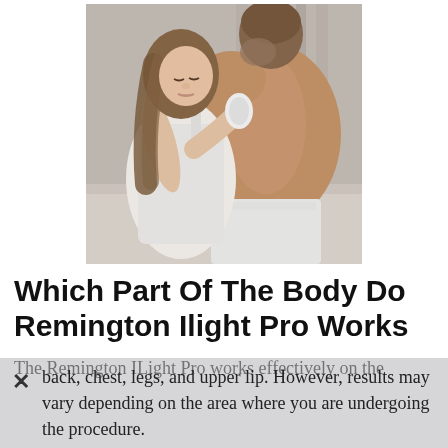[Figure (photo): A woman using a Remington ILight Pro device on a shirtless man's back in a bathroom/bedroom setting]
Which Part Of The Body Do Remington Ilight Pro Works
The Remington ILight Pro works effectively on the back, chest, legs, and upper lip. However, results may vary depending on the area where you are undergoing the procedure.